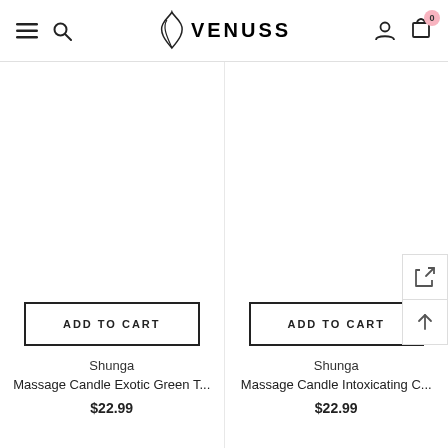VENUSS — navigation header with hamburger menu, search, logo, account, and cart (0 items)
ADD TO CART
Shunga
Massage Candle Exotic Green T...
$22.99
ADD TO CART
Shunga
Massage Candle Intoxicating C...
$22.99